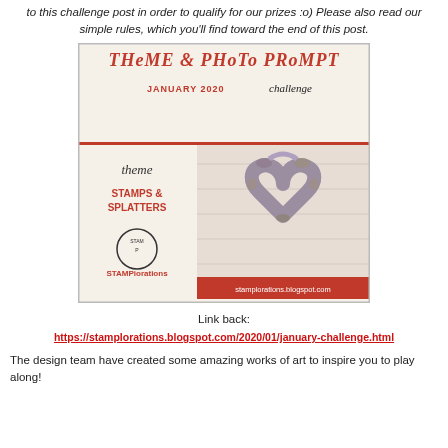to this challenge post in order to qualify for our prizes :o) Please also read our simple rules, which you'll find toward the end of this post.
[Figure (illustration): Theme & Photo Prompt challenge banner for January 2020 by STAMPiorations. Shows a heart-shaped wreath made of dried flowers and botanicals on a white wood background. Text on banner: THEME & PHOTO PROMPT, JANUARY 2020 challenge, theme: STAMPS & SPLATTERS, STAMPiorations, stamplorations.blogspot.com]
Link back: https://stamplorations.blogspot.com/2020/01/january-challenge.html
The design team have created some amazing works of art to inspire you to play along!